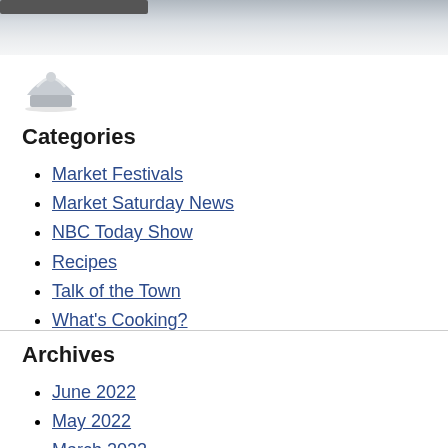[Figure (photo): Top banner image with a blurred outdoor/market background, with a dark toolbar button at the top left.]
[Figure (logo): Small circular logo resembling a tent or pavilion, gray tones, at upper left below the banner.]
Categories
Market Festivals
Market Saturday News
NBC Today Show
Recipes
Talk of the Town
What's Cooking?
Archives
June 2022
May 2022
March 2022
January 2022